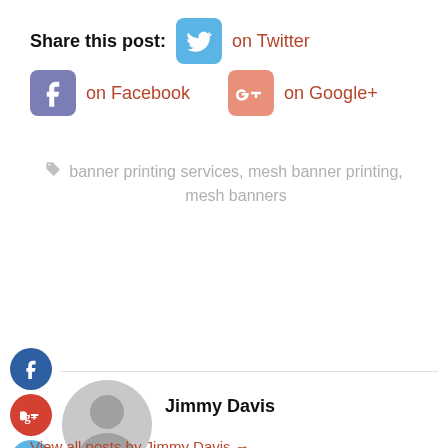Share this post: on Twitter on Facebook on Google+
banner printing services, mesh banner printing, mesh banners
[Figure (illustration): Social sharing icons: Facebook circle, Google+ circle, Twitter circle, plus circle on left side; author avatar placeholder (grey silhouette)]
Jimmy Davis
View all posts by Jimmy Davis →